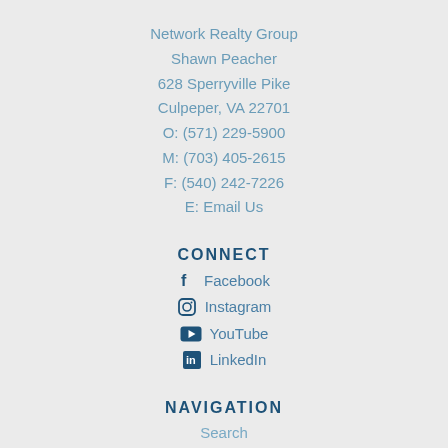Network Realty Group
Shawn Peacher
628 Sperryville Pike
Culpeper, VA 22701
O: (571) 229-5900
M: (703) 405-2615
F: (540) 242-7226
E: Email Us
CONNECT
Facebook
Instagram
YouTube
LinkedIn
NAVIGATION
Search